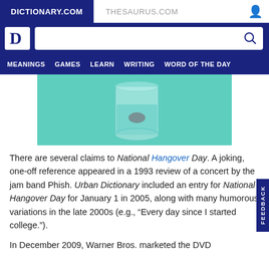DICTIONARY.COM | THESAURUS.COM
[Figure (screenshot): Dictionary.com logo and search bar with blue background and navigation menu showing MEANINGS, GAMES, LEARN, WRITING, WORD OF THE DAY]
[Figure (photo): A glass of water with a tablet/pill dissolving in it on a teal/mint green background]
There are several claims to National Hangover Day. A joking, one-off reference appeared in a 1993 review of a concert by the jam band Phish. Urban Dictionary included an entry for National Hangover Day for January 1 in 2005, along with many humorous variations in the late 2000s (e.g., “Every day since I started college.”).
In December 2009, Warner Bros. marketed the DVD